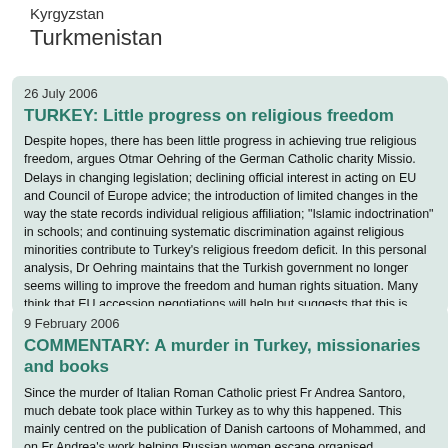Kyrgyzstan
Turkmenistan
26 July 2006
TURKEY: Little progress on religious freedom
Despite hopes, there has been little progress in achieving true religious freedom, argues Otmar Oehring of the German Catholic charity Missio. Delays in changing legislation; declining official interest in acting on EU and Council of Europe advice; the introduction of limited changes in the way the state records individual religious affiliation; "Islamic indoctrination" in schools; and continuing systematic discrimination against religious minorities contribute to Turkey's religious freedom deficit. In this personal analysis, Dr Oehring maintains that the Turkish government no longer seems willing to improve the freedom and human rights situation. Many think that EU accession negotiations will help but suggests that this is likely to end any progress towards religious freedom.
9 February 2006
COMMENTARY: A murder in Turkey, missionaries and books
Since the murder of Italian Roman Catholic priest Fr Andrea Santoro, much debate took place within Turkey as to why this happened. This mainly centred on the publication of Danish cartoons of Mohammed, and on Fr Andrea's work helping Russian women escape organised prostitution. But some discussion focused on the presence of books, some in Turkish, at the back of Fr Andrea's church, notes Canon Ian Sherwood...